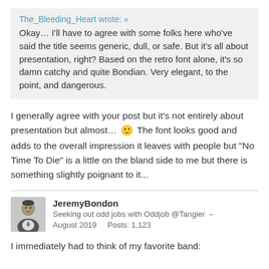The_Bleeding_Heart wrote: » Okay… I'll have to agree with some folks here who've said the title seems generic, dull, or safe. But it's all about presentation, right? Based on the retro font alone, it's so damn catchy and quite Bondian. Very elegant, to the point, and dangerous.
I generally agree with your post but it's not entirely about presentation but almost… 🙂 The font looks good and adds to the overall impression it leaves with people but "No Time To Die" is a little on the bland side to me but there is something slightly poignant to it...
JeremyBondon
Seeking out odd jobs with Oddjob @Tangier –
August 2019    Posts: 1,123
I immediately had to think of my favorite band: